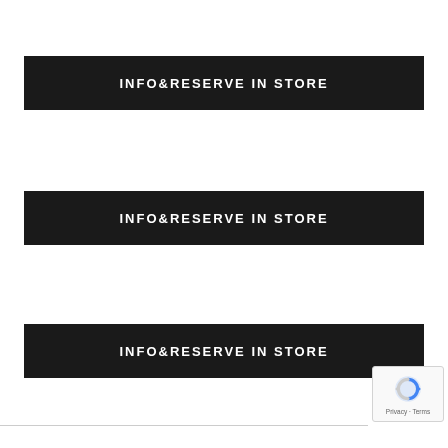INFO&RESERVE IN STORE
INFO&RESERVE IN STORE
INFO&RESERVE IN STORE
[Figure (logo): reCAPTCHA logo with Privacy and Terms text]